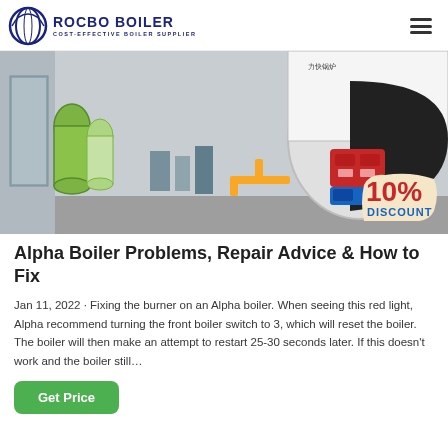ROCBO BOILER — COST-EFFECTIVE BOILER SUPPLIER
[Figure (photo): Industrial boiler room interior showing a large cylindrical boiler with a red burner attachment, yellow gas pipes, water softener tanks on the left, and pumping equipment in the center. A 10% DISCOUNT badge is overlaid in the bottom-right corner.]
Alpha Boiler Problems, Repair Advice & How to Fix
Jan 11, 2022 · Fixing the burner on an Alpha boiler. When seeing this red light, Alpha recommend turning the front boiler switch to 3, which will reset the boiler. The boiler will then make an attempt to restart 25-30 seconds later. If this doesn't work and the boiler still…
Get Price